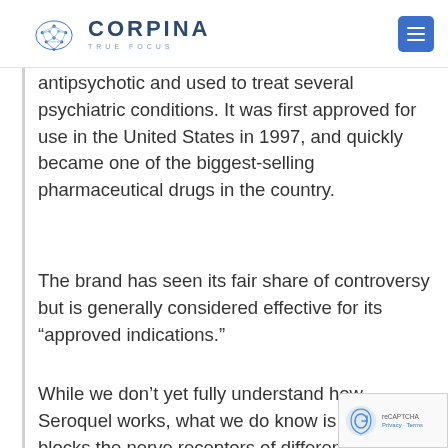CORPINA TRUE FOCUS
antipsychotic and used to treat several psychiatric conditions. It was first approved for use in the United States in 1997, and quickly became one of the biggest-selling pharmaceutical drugs in the country.
The brand has seen its fair share of controversy but is generally considered effective for its “approved indications.”
While we don’t yet fully understand how Seroquel works, what we do know is that it blocks the nerve receptors of different neurotransmitters that affect